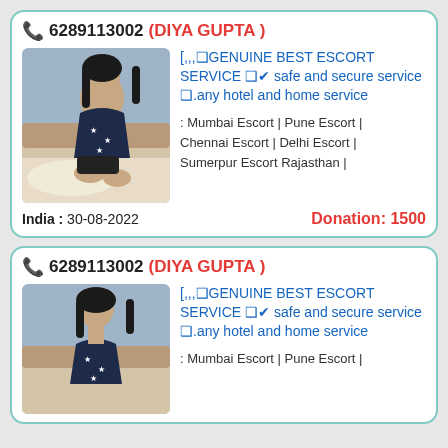📞 6289113002 (DIYA GUPTA )
[Figure (photo): Young woman in dark floral top seated on bed]
[,,,❑GENUINE BEST ESCORT SERVICE ❑✔ safe and secure service ❑.any hotel and home service
: Mumbai Escort | Pune Escort | Chennai Escort | Delhi Escort | Sumerpur Escort Rajasthan |
India :  30-08-2022    Donation: 1500
📞 6289113002 (DIYA GUPTA )
[Figure (photo): Young woman in dark floral top seated on bed]
[,,,❑GENUINE BEST ESCORT SERVICE ❑✔ safe and secure service ❑.any hotel and home service
: Mumbai Escort | Pune Escort |